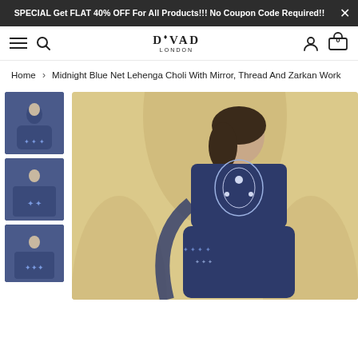SPECIAL Get FLAT 40% OFF For All Products!!! No Coupon Code Required!!
[Figure (screenshot): Navigation bar with hamburger menu, search icon, DIVAD LONDON logo, user account icon, and cart icon showing 0 items]
Home > Midnight Blue Net Lehenga Choli With Mirror, Thread And Zarkan Work
[Figure (photo): Product page showing Midnight Blue Net Lehenga Choli with Mirror, Thread and Zarkan Work. Three thumbnail images on the left showing a model wearing a midnight blue embroidered lehenga choli set. Main large image on the right showing the model in a golden/cream arched backdrop wearing the navy blue heavily embroidered lehenga with mirror work, thread work and zarkan embellishments.]